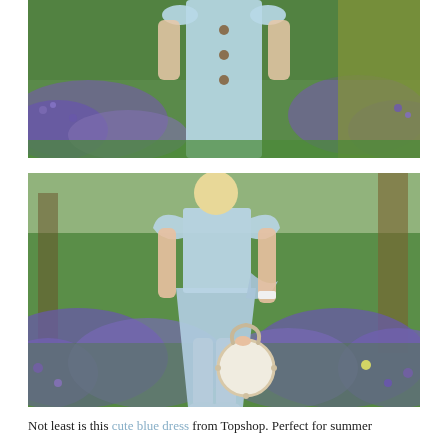[Figure (photo): A woman wearing a light blue short-sleeved button-front dress, photographed outdoors among a field of purple/blue bluebells with green foliage. Cropped to show torso and dress details.]
[Figure (photo): A woman in a light blue wrap-style dress with flutter sleeves and a tie waist, carrying a round white studded handbag, walking among purple bluebells in a woodland setting. Full-body side profile shot.]
Not least is this cute blue dress from Topshop. Perfect for summer